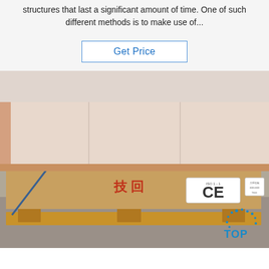structures that last a significant amount of time. One of such different methods is to make use of...
Get Price
[Figure (photo): Packaged panels or boards stacked on a wooden pallet, wrapped in kraft paper and plastic strapping, with Chinese writing in red marker and CE certification label visible on the side.]